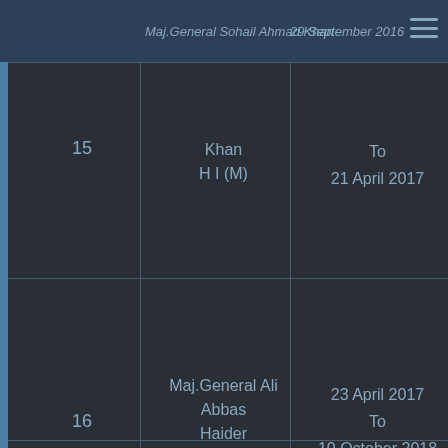Maj.General Sohail Ahmad Khan  29 September 2016
| S.No | Name | Date |
| --- | --- | --- |
| 15 | Maj.General Sohail Ahmad Khan
H I (M) | 29 September 2016
To
21 April 2017 |
| 16 | Maj.General Ali Abbas Haider
H I (M) S.BT | 23 April 2017
To
10 October 2018 |